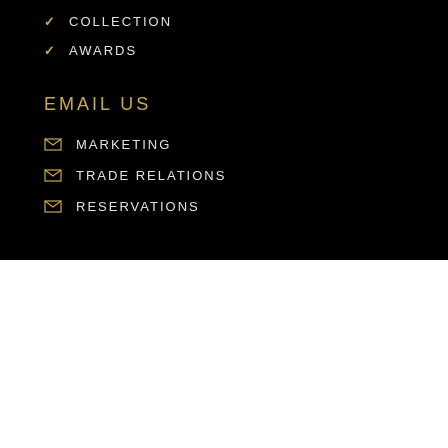COLLECTION
AWARDS
EMAIL US
MARKETING
TRADE RELATIONS
RESERVATIONS